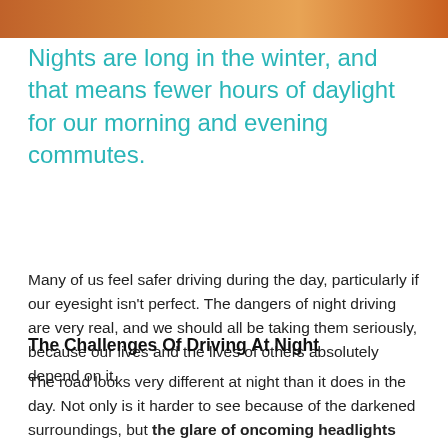[Figure (photo): Photo strip at top of page showing warm orange/amber tones, appears to be a nighttime or sunset driving scene]
Nights are long in the winter, and that means fewer hours of daylight for our morning and evening commutes.
Many of us feel safer driving during the day, particularly if our eyesight isn't perfect. The dangers of night driving are very real, and we should all be taking them seriously, because our lives and the lives of others absolutely depend on it.
The Challenges Of Driving At Night
The road looks very different at night than it does in the day. Not only is it harder to see because of the darkened surroundings, but the glare of oncoming headlights can momentarily blind us to the curves of the road and obstacles in our way. And even if you